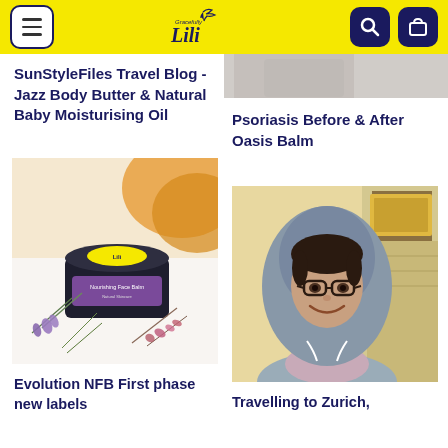Gracefully Lili
SunStyleFiles Travel Blog - Jazz Body Butter & Natural Baby Moisturising Oil
[Figure (photo): Partial photo of a product (cream jar) at top right, partially cut off]
Psoriasis Before & After Oasis Balm
[Figure (photo): Photo of a Gracefully Lili Nourishing Face Balm jar surrounded by lavender and dried flowers on a white surface]
Evolution NFB First phase new labels
[Figure (photo): Photo of a woman with glasses wearing a grey hood and scarf, smiling at the camera indoors]
Travelling to Zurich,